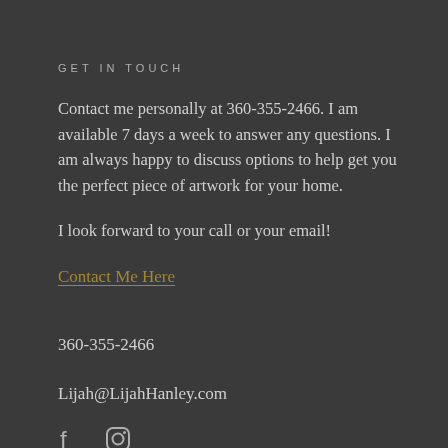GET IN TOUCH
Contact me personally at 360-355-2466. I am available 7 days a week to answer any questions. I am always happy to discuss options to help get you the perfect piece of artwork for your home.
I look forward to your call or your email!
Contact Me Here
360-355-2466
Lijah@LijahHanley.com
[Figure (illustration): Social media icons for Facebook and Instagram]